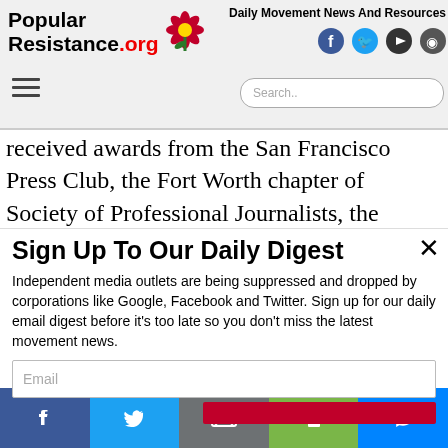PopularResistance.org — Daily Movement News And Resources
received awards from the San Francisco Press Club, the Fort Worth chapter of Society of Professional Journalists, the Native American Journalists
Sign Up To Our Daily Digest
Independent media outlets are being suppressed and dropped by corporations like Google, Facebook and Twitter. Sign up for our daily email digest before it's too late so you don't miss the latest movement news.
Email